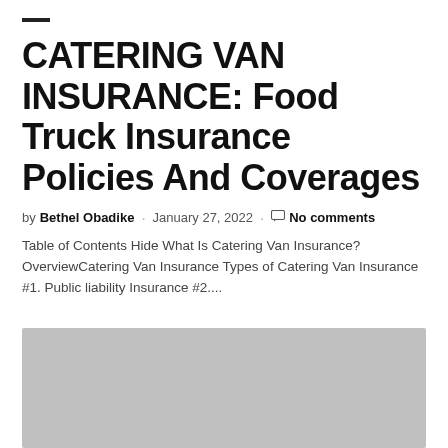CATERING VAN INSURANCE: Food Truck Insurance Policies And Coverages
by Bethel Obadike · January 27, 2022 · No comments
Table of Contents Hide What Is Catering Van Insurance? OverviewCatering Van InsuranceTypes of Catering Van Insurance #1. Public liability Insurance #2....
[Figure (photo): Gray placeholder image at the bottom of the page]